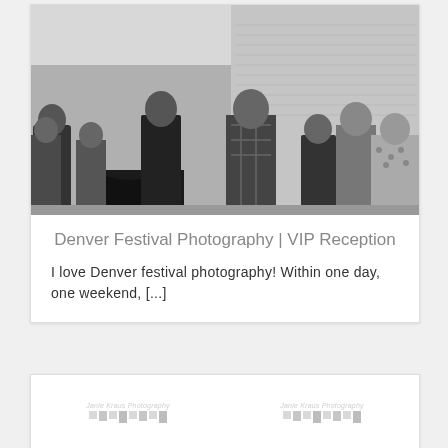[Figure (photo): Black and white photograph of a VIP reception event showing groups of people mingling indoors, with hanging leaf decorations visible at the top and handwritten script on the wall in the background. A round table with a dark tablecloth is visible on the left.]
Denver Festival Photography | VIP Reception
I love Denver festival photography! Within one day, one weekend, [...]
[Figure (logo): Janie Kraus Photography logo watermark with stylized bar elements, appearing twice side by side in the bottom card.]